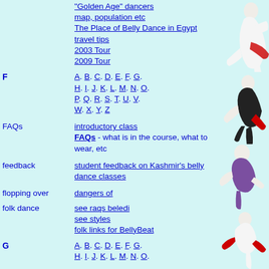| Term | Links |
| --- | --- |
|  | "Golden Age" dancers
map, population etc
The Place of Belly Dance in Egypt
travel tips
2003 Tour
2009 Tour |
| F | A. B. C. D. E. F. G. H. I. J. K. L. M. N. O. P. Q. R. S. T. U. V. W. X. Y. Z |
| FAQs | introductory class FAQs - what is in the course, what to wear, etc |
| feedback | student feedback on Kashmir's belly dance classes |
| flopping over | dangers of |
| folk dance | see raqs beledi
see styles
folk links for BellyBeat |
| G | A. B. C. D. E. F. G. H. I. J. K. L. M. N. O. |
[Figure (photo): Right side strip of photos showing belly dancers in various poses and costumes]